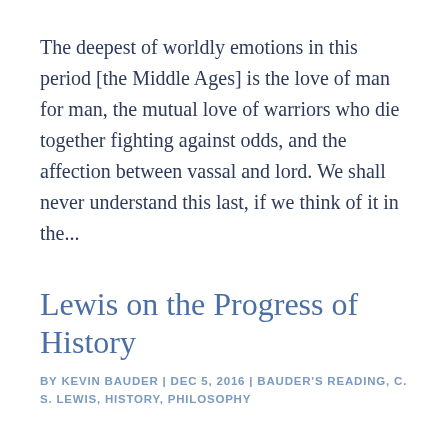The deepest of worldly emotions in this period [the Middle Ages] is the love of man for man, the mutual love of warriors who die together fighting against odds, and the affection between vassal and lord. We shall never understand this last, if we think of it in the...
Lewis on the Progress of History
BY KEVIN BAUDER | DEC 5, 2016 | BAUDER'S READING, C. S. LEWIS, HISTORY, PHILOSOPHY
Humanity does not pass through phases